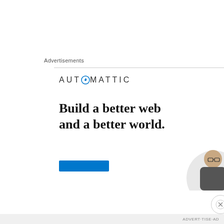Advertisements
[Figure (illustration): Automattic advertisement banner showing logo, headline 'Build a better web and a better world.', a blue CTA button, and a partially visible person photo on the right]
Privacy & Cookies: This site uses cookies. By continuing to use this website, you agree to their use.
To find out more, including how to control cookies, see here: Cookie Policy
Close and accept